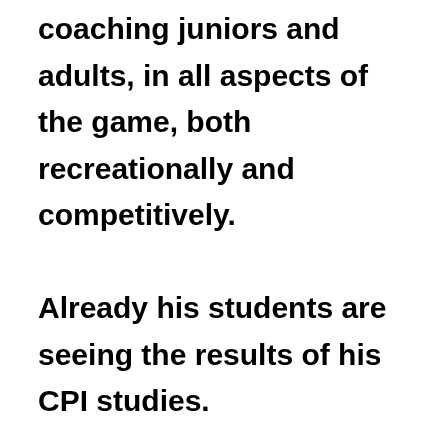coaching juniors and adults, in all aspects of the game, both recreationally and competitively.

Already his students are seeing the results of his CPI studies.

“The lessons I have given so far using the CPI Course content, all students found it to be very beneficial. I was also attracted to the course from my own